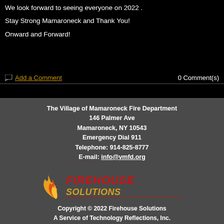We look forward to seeing everyone on 2022 .
Stay Strong Mamaroneck and Thank You!
Onward and Forward!
Add a Comment   0 Comment(s)
The Village of Mamaroneck Fire Department
146 Palmer Ave
Maramaroneck, NY 10543
Emergency Dial 911
Telephone: 914-825-8777
E-mail: info@vmfd.org
[Figure (logo): Firehouse Solutions logo with flame graphic and stylized red and gold text]
Copyright © 2022 Firehouse Solutions
A Service of Technology Reflections, Inc.